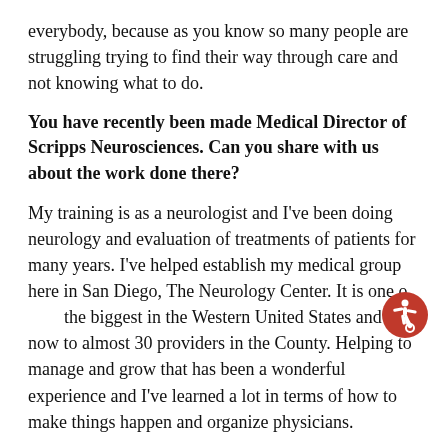everybody, because as you know so many people are struggling trying to find their way through care and not knowing what to do.
You have recently been made Medical Director of Scripps Neurosciences. Can you share with us about the work done there?
My training is as a neurologist and I've been doing neurology and evaluation of treatments of patients for many years. I've helped establish my medical group here in San Diego, The Neurology Center. It is one of the biggest in the Western United States and is now to almost 30 providers in the County. Helping to manage and grow that has been a wonderful experience and I've learned a lot in terms of how to make things happen and organize physicians.
Most recently, Scripps Health asked me to come on board and be the chair of their Neuroscience Service Line. The Service Line helps manage neurology, neurosurgery, neuro-rehabilitation services system